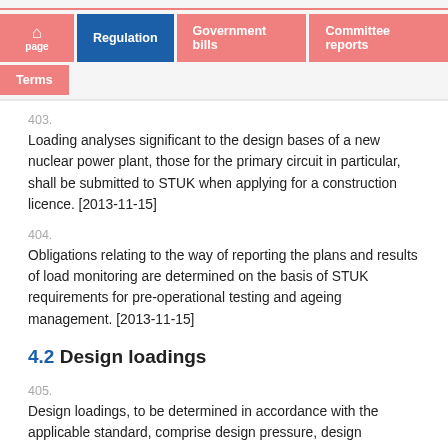Regulation | Government bills | Committee reports | page | Terms
403.
Loading analyses significant to the design bases of a new nuclear power plant, those for the primary circuit in particular, shall be submitted to STUK when applying for a construction licence. [2013-11-15]
404.
Obligations relating to the way of reporting the plans and results of load monitoring are determined on the basis of STUK requirements for pre-operational testing and ageing management. [2013-11-15]
4.2 Design loadings
405.
Design loadings, to be determined in accordance with the applicable standard, comprise design pressure, design